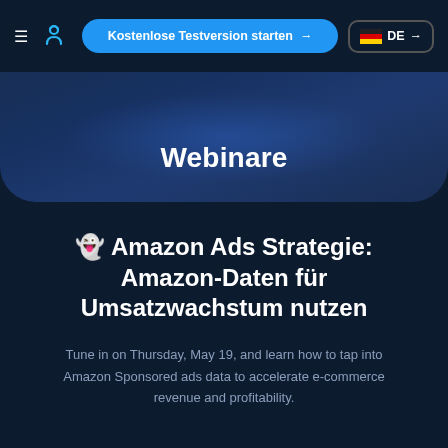≡ [logo] Kostenlose Testversion starten → | DE →
Webinare
👻 Amazon Ads Strategie: Amazon-Daten für Umsatzwachstum nutzen
Tune in on Thursday, May 19, and learn how to tap into Amazon Sponsored ads data to accelerate e-commerce revenue and profitability.